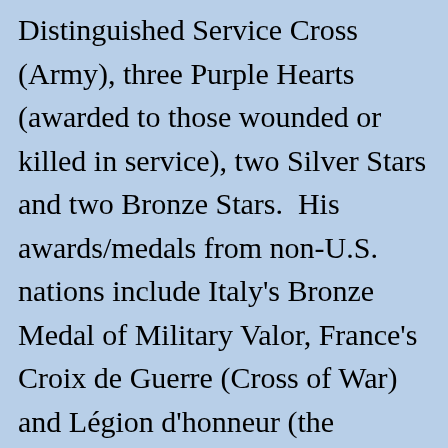Distinguished Service Cross (Army), three Purple Hearts (awarded to those wounded or killed in service), two Silver Stars and two Bronze Stars.  His awards/medals from non-U.S. nations include Italy's Bronze Medal of Military Valor, France's Croix de Guerre (Cross of War) and Légion d'honneur (the National Order of the Legion of Honour, reportedly the highest French order for military and civil merits), as well as South Korea's TaeGuk Cordon (1st Class) of the Order of Military Merit, ROK's highest recognition for military bravery and valor and also an award from the ROK nation